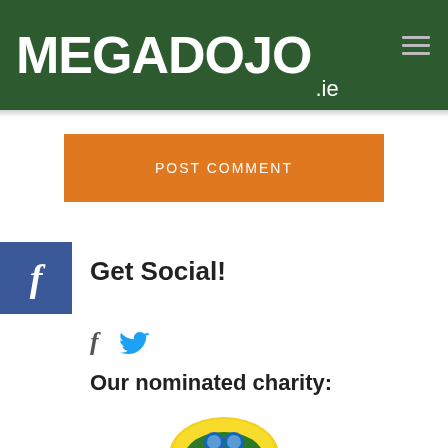MEGADOJO .ie
POST COMMENT
Get Social!
[Figure (other): Facebook and Twitter social media icons]
Our nominated charity:
[Figure (logo): Partial charity logo at bottom of page]